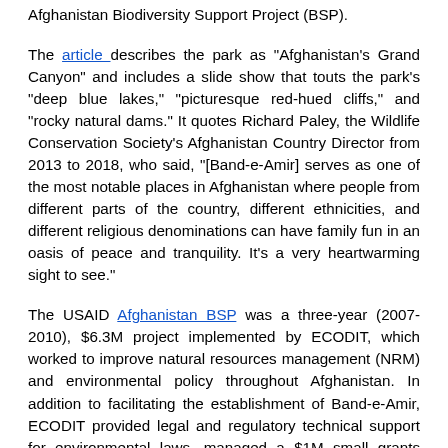Afghanistan Biodiversity Support Project (BSP).
The article describes the park as "Afghanistan's Grand Canyon" and includes a slide show that touts the park's "deep blue lakes," "picturesque red-hued cliffs," and "rocky natural dams." It quotes Richard Paley, the Wildlife Conservation Society's Afghanistan Country Director from 2013 to 2018, who said, "[Band-e-Amir] serves as one of the most notable places in Afghanistan where people from different parts of the country, different ethnicities, and different religious denominations can have family fun in an oasis of peace and tranquility. It's a very heartwarming sight to see."
The USAID Afghanistan BSP was a three-year (2007-2010), $6.3M project implemented by ECODIT, which worked to improve natural resources management (NRM) and environmental policy throughout Afghanistan. In addition to facilitating the establishment of Band-e-Amir, ECODIT provided legal and regulatory technical support for environmental laws, managed a $1M small grants program supporting watershed management and soil and water conservation projects, and trained more